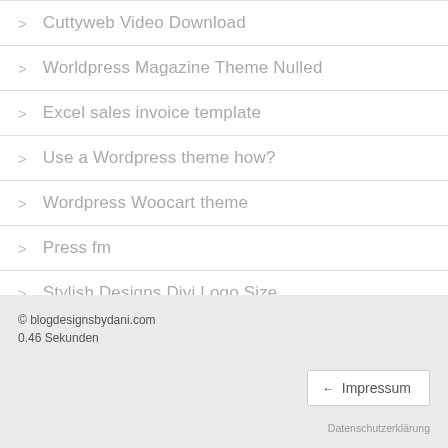Cuttyweb Video Download
Worldpress Magazine Theme Nulled
Excel sales invoice template
Use a Wordpress theme how?
Wordpress Woocart theme
Press fm
Stylish Designs Divi Logo Size
Free Wordpress Layout Builder
Free Wordpress Topics
© blogdesignsbydani.com
0.46 Sekunden
Impressum
Datenschutzerklärung